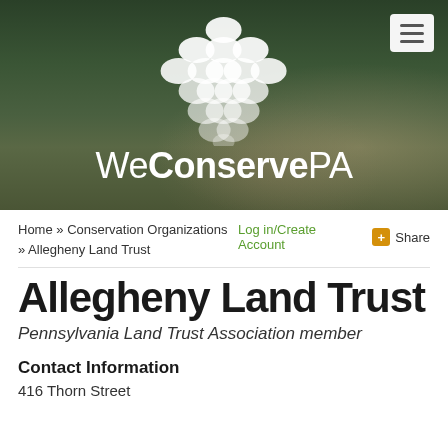[Figure (screenshot): WeConservePA website header hero image showing a rural Pennsylvania landscape with green hills, farmhouse and barn in background. White pinecone logo and 'WeConservePA' text overlay. Menu hamburger button in top right.]
Home » Conservation Organizations » Allegheny Land Trust
Log in/Create Account
+ Share
Allegheny Land Trust
Pennsylvania Land Trust Association member
Contact Information
416 Thorn Street